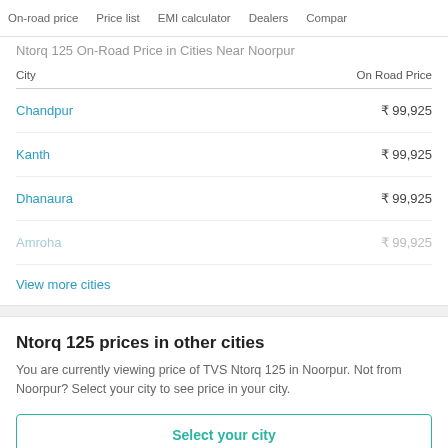On-road price   Price list   EMI calculator   Dealers   Compar
Ntorq 125 On-Road Price in Cities Near Noorpur
| City | On Road Price |
| --- | --- |
| Chandpur | ₹ 99,925 |
| Kanth | ₹ 99,925 |
| Dhanaura | ₹ 99,925 |
| Amroha | ₹ 99,925 |
View more cities
Ntorq 125 prices in other cities
You are currently viewing price of TVS Ntorq 125 in Noorpur. Not from Noorpur? Select your city to see price in your city.
Select your city